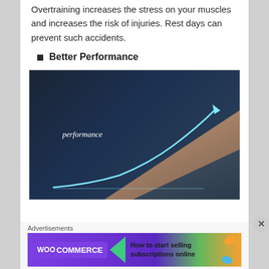Overtraining increases the stress on your muscles and increases the risk of injuries. Rest days can prevent such accidents.
Better Performance
[Figure (photo): A person's hand drawing an upward-curving performance growth line on a dark background, with the word 'performance' written in white italic text]
Advertisements
[Figure (screenshot): WooCommerce advertisement banner reading 'How to start selling subscriptions online']